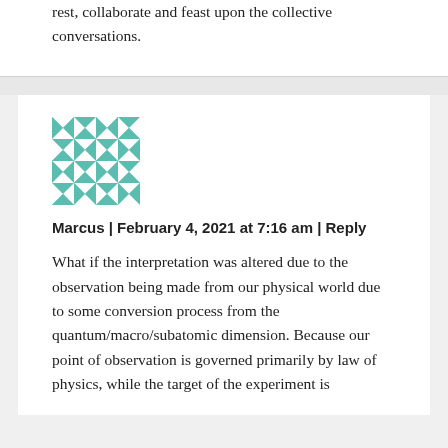rest, collaborate and feast upon the collective conversations.
[Figure (illustration): Geometric teal and white avatar/identicon with triangular and star pattern]
Marcus | February 4, 2021 at 7:16 am | Reply
What if the interpretation was altered due to the observation being made from our physical world due to some conversion process from the quantum/macro/subatomic dimension. Because our point of observation is governed primarily by law of physics, while the target of the experiment is